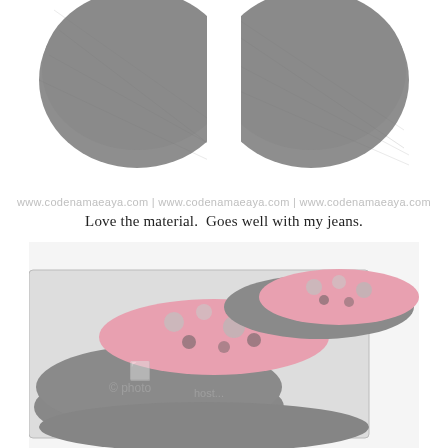[Figure (photo): Close-up top view of two gray fabric ballet flat shoes side by side on white background, showing the toe area texture]
www.codenameaya.com | www.codenamaeaya.com | www.codenamaeaya.com
Love the material.  Goes well with my jeans.
[Figure (photo): Two gray canvas ballet flat shoes shown from above at an angle, opened to reveal pink floral interior lining with grey and black rose pattern; a photographer watermark is visible]